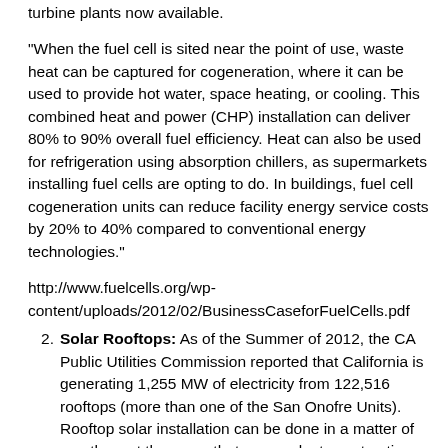turbine plants now available.
"When the fuel cell is sited near the point of use, waste heat can be captured for cogeneration, where it can be used to provide hot water, space heating, or cooling. This combined heat and power (CHP) installation can deliver 80% to 90% overall fuel efficiency. Heat can also be used for refrigeration using absorption chillers, as supermarkets installing fuel cells are opting to do. In buildings, fuel cell cogeneration units can reduce facility energy service costs by 20% to 40% compared to conventional energy technologies."
http://www.fuelcells.org/wp-content/uploads/2012/02/BusinessCaseforFuelCells.pdf
Solar Rooftops: As of the Summer of 2012, the CA Public Utilities Commission reported that California is generating 1,255 MW of electricity from 122,516 rooftops (more than one of the San Onofre Units). Rooftop solar installation can be done in a matter of months, not the years that power plant construction